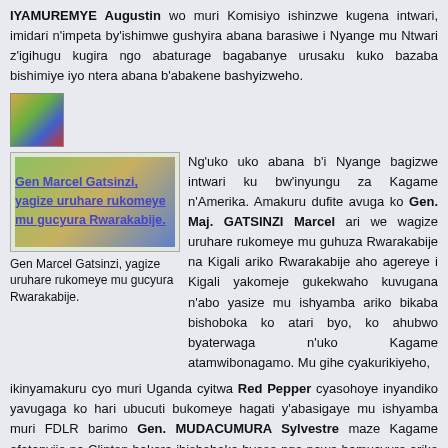IYAMUREMYE Augustin wo muri Komisiyo ishinzwe kugena intwari, imidari n'impeta by'ishimwe gushyira abana barasiwe i Nyange mu Ntwari z'igihugu kugira ngo abaturage bagabanye urusaku kuko bazaba bishimiye iyo ntera abana b'abakene bashyizweho.
[Figure (photo): Small icon image with Rwanda flag colors]
[Figure (photo): Gen Marcel Gatsinzi image placeholder with link text]
Gen Marcel Gatsinzi, yagize uruhare rukomeye mu gucyura Rwarakabije.
Ng'uko uko abana b'i Nyange bagizwe intwari ku bw'inyungu za Kagame n'Amerika. Amakuru dufite avuga ko Gen. Maj. GATSINZI Marcel ari we wagize uruhare rukomeye mu guhuza Rwarakabije na Kigali ariko Rwarakabije aho agereye i Kigali yakomeje gukekwaho kuvugana n'abo yasize mu ishyamba ariko bikaba bishoboka ko atari byo, ko ahubwo byaterwaga n'uko Kagame atamwibonagamo. Mu gihe cyakurikiyeho, ikinyamakuru cyo muri Uganda cyitwa Red Pepper cyasohoye inyandiko yavugaga ko hari ubucuti bukomeye hagati y'abasigaye mu ishyamba muri FDLR barimo Gen. MUDACUMURA Sylvestre maze Kagame afatanyije na Clinton bakora ibishoboka byose ngo nawe bamucyure ariko birananirana.
[Figure (photo): Small icon image with Rwanda flag colors]
Amakuru yakomeje gushyuha cyane kugera ubwo ikinyamakuru cyitwa UMWEZI cyandikirwa mu Rwanda mu nimero yacyo ya 88 yasohotse kuva ku italiki 07 kugera taliki 14 Nzeri 2011 cyanditse ku rupapuro rwacyo rwa kabiri (2) ko Gen. Sylvestre MUDACUMURA ari mu nzira agana i Kigali. Ibi ntibyari byo kuko kugerä ubu ataragera mu